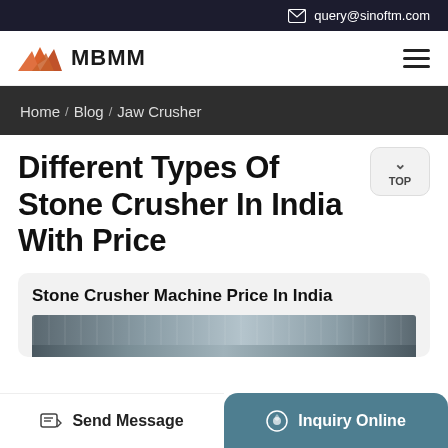query@sinoftm.com
[Figure (logo): MBMM logo with orange mountain icon and bold MBMM text]
Home / Blog / Jaw Crusher
Different Types Of Stone Crusher In India With Price
Stone Crusher Machine Price In India
[Figure (photo): Partial view of stone crusher machine, grey metallic equipment]
Send Message
Inquiry Online